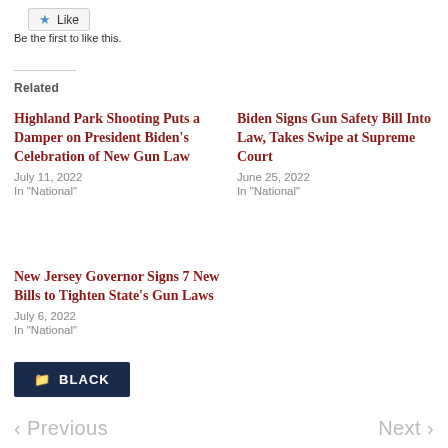[Figure (other): Like button with a blue star icon]
Be the first to like this.
Related
Highland Park Shooting Puts a Damper on President Biden’s Celebration of New Gun Law
July 11, 2022
In "National"
Biden Signs Gun Safety Bill Into Law, Takes Swipe at Supreme Court
June 25, 2022
In "National"
New Jersey Governor Signs 7 New Bills to Tighten State’s Gun Laws
July 6, 2022
In "National"
BLACK
< Previous    Next >